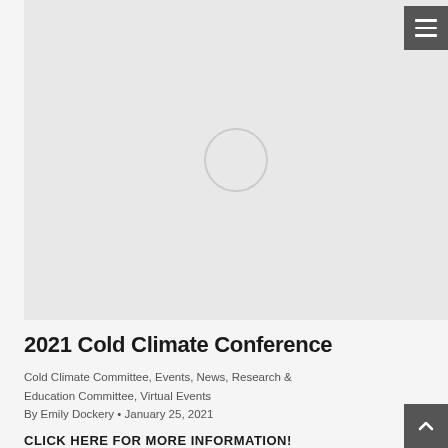[Figure (photo): Gray placeholder image area with a circular loading indicator in the center]
2021 Cold Climate Conference
Cold Climate Committee, Events, News, Research & Education Committee, Virtual Events
By Emily Dockery • January 25, 2021
CLICK HERE FOR MORE INFORMATION!